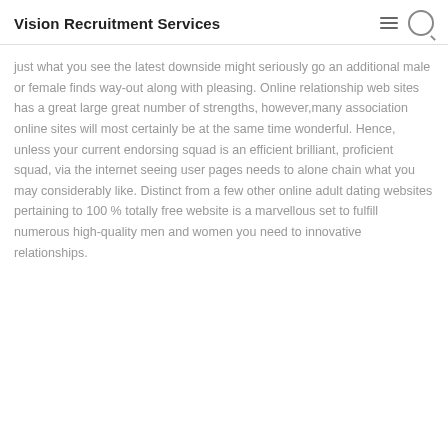Vision Recruitment Services
just what you see the latest downside might seriously go an additional male or female finds way-out along with pleasing. Online relationship web sites has a great large great number of strengths, however,many association online sites will most certainly be at the same time wonderful. Hence, unless your current endorsing squad is an efficient brilliant, proficient squad, via the internet seeing user pages needs to alone chain what you may considerably like. Distinct from a few other online adult dating websites pertaining to 100 % totally free website is a marvellous set to fulfill numerous high-quality men and women you need to innovative relationships.